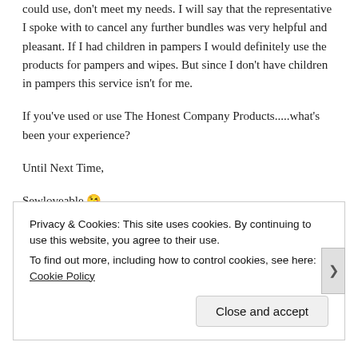could use, don't meet my needs. I will say that the representative I spoke with to cancel any further bundles was very helpful and pleasant. If I had children in pampers I would definitely use the products for pampers and wipes. But since I don't have children in pampers this service isn't for me.
If you've used or use The Honest Company Products.....what's been your experience?
Until Next Time,
Sewloveable 😘
Privacy & Cookies: This site uses cookies. By continuing to use this website, you agree to their use.
To find out more, including how to control cookies, see here: Cookie Policy
Close and accept